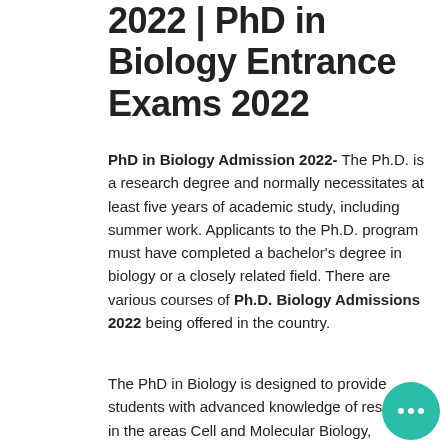2022 | PhD in Biology Entrance Exams 2022
PhD in Biology Admission 2022- The Ph.D. is a research degree and normally necessitates at least five years of academic study, including summer work. Applicants to the Ph.D. program must have completed a bachelor’s degree in biology or a closely related field. There are various courses of Ph.D. Biology Admissions 2022 being offered in the country.
The PhD in Biology is designed to provide students with advanced knowledge of research in the areas Cell and Molecular Biology, Ecology and Evolution